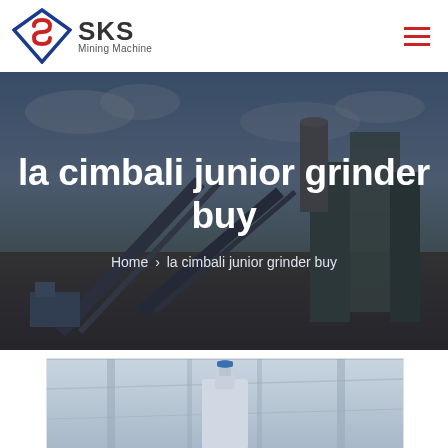[Figure (logo): SKS Mining Machine logo with diamond/S shape in red and blue, text SKS Mining Machine]
la cimbali junior grinder buy
Home › la cimbali junior grinder buy
[Figure (photo): Mining/industrial facility with conveyor belts and machinery against cloudy sky, used as hero banner background]
[Figure (photo): Partial bottom image showing industrial equipment, bottom portion cut off]